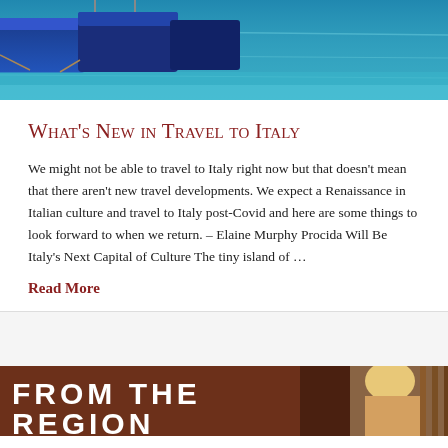[Figure (photo): Top banner photo of colorful boats moored in a blue harbor/marina, viewed from above, with vivid turquoise water]
What's New in Travel to Italy
We might not be able to travel to Italy right now but that doesn't mean that there aren't new travel developments. We expect a Renaissance in Italian culture and travel to Italy post-Covid and here are some things to look forward to when we return. – Elaine Murphy Procida Will Be Italy's Next Capital of Culture The tiny island of …
Read More
[Figure (photo): Bottom banner photo showing 'FROM THE' text overlay in large white bold letters on a dark reddish-brown background, with a partial view of a blonde person on the right side]